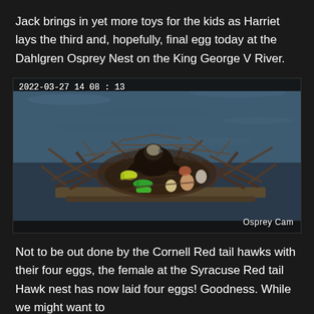Jack brings in yet more toys for the kids as Harriet lays the third and, hopefully, final egg today at the Dahlgren Osprey Nest on the King George V River.
[Figure (photo): Security camera footage dated 2022-03-27 14:08:13 showing an osprey sitting in a large nest made of sticks and branches on water. The nest contains colorful toys and objects including what appears to be fishing lures and toys. The nest is on a platform over water. Watermark reads 'Osprey Cam' in the bottom right.]
Not to be out done by the Cornell Red tail hawks with their four eggs, the female at the Syracuse Red tail Hawk nest has now laid four eggs! Goodness. While we might want to